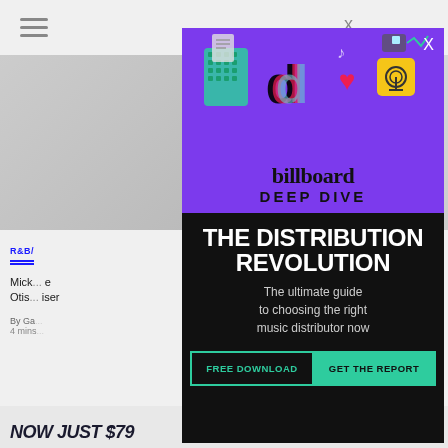[Figure (screenshot): Billboard Deep Dive advertisement popup overlay on a webpage. Purple top section with illustrated icons (TikTok logo, heart, satellite dish, game controller, music notes, document icons) and billboard deep dive branding. Black lower section with white bold text 'THE DISTRIBUTION REVOLUTION' and subtitle 'The ultimate guide to choosing the right music distributor now'. Two buttons: 'FREE DOWNLOAD' in teal outline and 'GET THE REPORT' in solid teal. Background shows hamburger menu, gray image strip, article category 'R&B/', partial headline text, author info, and bottom promo text 'NOW JUST $79'.]
R&B/
Mick Otis
By Ga
4 mins
THE DISTRIBUTION REVOLUTION
The ultimate guide to choosing the right music distributor now
FREE DOWNLOAD
GET THE REPORT
NOW JUST $79